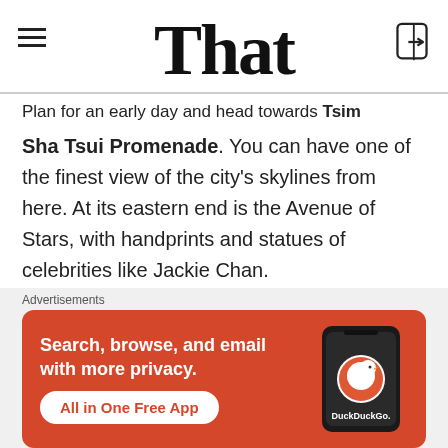That
Plan for an early day and head towards Tsim Sha Tsui Promenade. You can have one of the finest view of the city's skylines from here. At its eastern end is the Avenue of Stars, with handprints and statues of celebrities like Jackie Chan.
2. Star Ferry:
[Figure (infographic): DuckDuckGo advertisement banner with orange background showing phone with DuckDuckGo logo, text: Search, browse, and email with more privacy. All in One Free App]